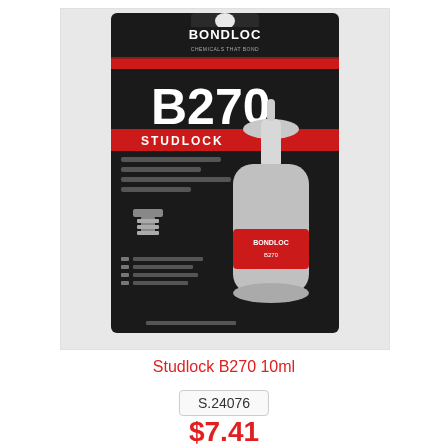[Figure (photo): Product photo of Bondloc B270 Studlock 10ml adhesive bottle on packaging card against dark background]
Studlock B270 10ml
S.24076
$7.41